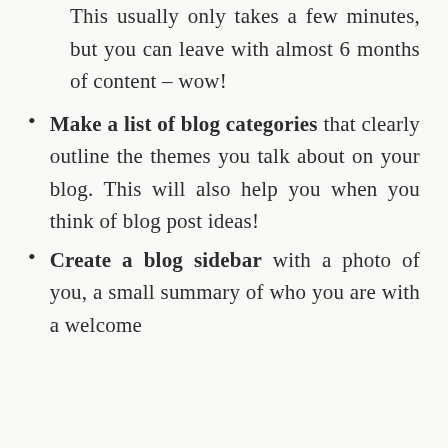This usually only takes a few minutes, but you can leave with almost 6 months of content – wow!
Make a list of blog categories that clearly outline the themes you talk about on your blog. This will also help you when you think of blog post ideas!
Create a blog sidebar with a photo of you, a small summary of who you are with a welcome